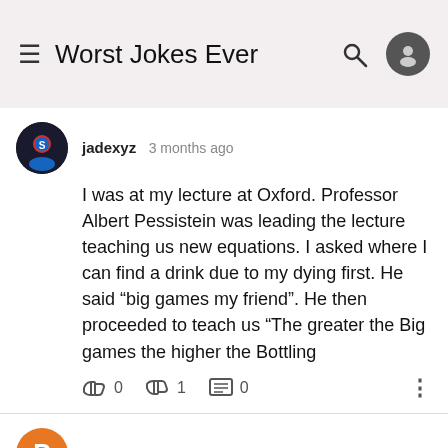Worst Jokes Ever
jadexyz  3 months ago
I was at my lecture at Oxford. Professor Albert Pessistein was leading the lecture teaching us new equations. I asked where I can find a drink due to my dying first. He said “big games my friend”. He then proceeded to teach us “The greater the Big games the higher the Bottling
Phobia matters  3 years ago
Albert is an homophobic guy, His cousin Franco also an homophobic guy.

Albert's aunt and cousin have visited his parents, but Albert wasn't knowing that because he came late at night. Franco was sleeping in Albert's bed